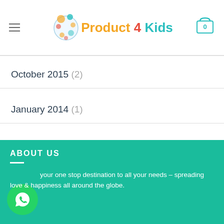Product 4 Kids
October 2015 (2)
January 2014 (1)
December 2013 (2)
August 2013 (2)
ABOUT US
your one stop destination to all your needs – spreading love & happiness all around the globe.